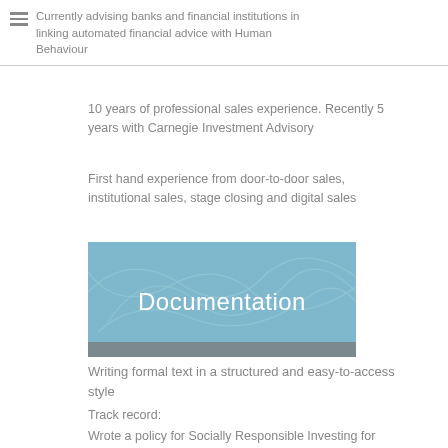Currently advising banks and financial institutions in linking automated financial advice with Human Behaviour
10 years of professional sales experience. Recently 5 years with Carnegie Investment Advisory
First hand experience from door-to-door sales, institutional sales, stage closing and digital sales
[Figure (illustration): Blue banner image with decorative sketch lines and the word 'Documentation' in white text centered on a light blue background with a dark grey bottom strip]
Writing formal text in a structured and easy-to-access style
Track record:
Wrote a policy for Socially Responsible Investing for